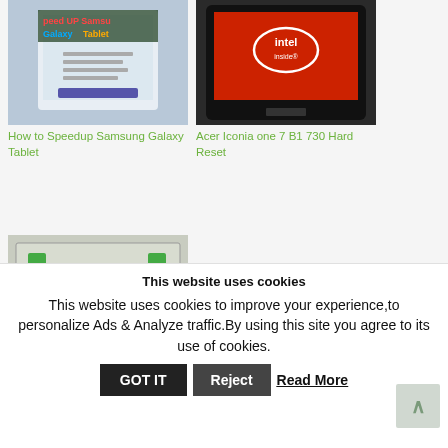[Figure (screenshot): Thumbnail showing Samsung Galaxy Tablet speed up tutorial with colorful text overlay saying 'Speed UP Samsung Galaxy Tablet']
How to Speedup Samsung Galaxy Tablet
[Figure (screenshot): Thumbnail showing a tablet with Intel inside logo on red boot screen - Acer Iconia one 7 B1 730]
Acer Iconia one 7 B1 730 Hard Reset
[Figure (photo): Thumbnail showing internal hardware components of a tablet with green connector clips visible]
This website uses cookies
This website uses cookies to improve your experience,to personalize Ads & Analyze traffic.By using this site you agree to its use of cookies.
GOT IT
Reject
Read More